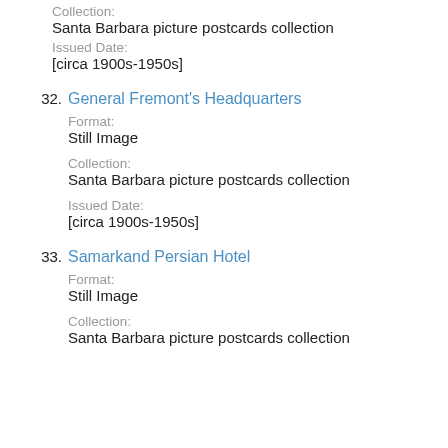Collection:
Santa Barbara picture postcards collection
Issued Date:
[circa 1900s-1950s]
32. General Fremont's Headquarters
Format:
Still Image
Collection:
Santa Barbara picture postcards collection
Issued Date:
[circa 1900s-1950s]
33. Samarkand Persian Hotel
Format:
Still Image
Collection:
Santa Barbara picture postcards collection